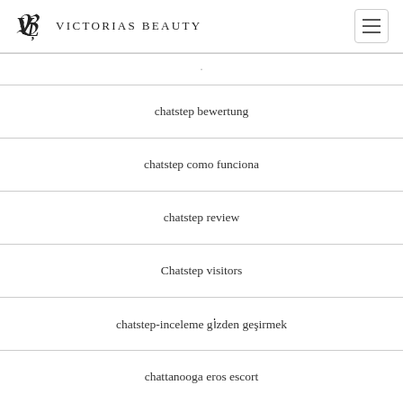Victorias Beauty
chatstep bewertung
chatstep como funciona
chatstep review
Chatstep visitors
chatstep-inceleme gözden geçirmek
chattanooga eros escort
chattanooga escort
chattanooga escort near me
Chattanooga+TN+Tennessee hookup sites